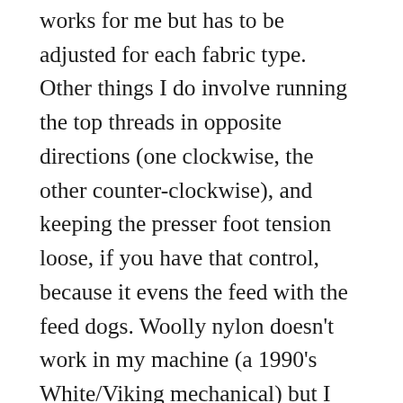works for me but has to be adjusted for each fabric type. Other things I do involve running the top threads in opposite directions (one clockwise, the other counter-clockwise), and keeping the presser foot tension loose, if you have that control, because it evens the feed with the feed dogs. Woolly nylon doesn't work in my machine (a 1990's White/Viking mechanical) but I like using 40-wt. rayon thread; it moves through the mechanism easily, doesn't break and is softer against the skin. Because rayon thread is thinner, it may require higher bobbin tension. I haven't